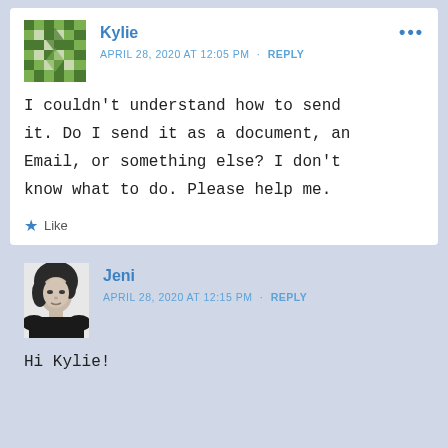Kylie
APRIL 28, 2020 AT 12:05 PM · REPLY
I couldn't understand how to send it. Do I send it as a document, an Email, or something else? I don't know what to do. Please help me.
Like
Jeni
APRIL 28, 2020 AT 12:15 PM · REPLY
Hi Kylie!